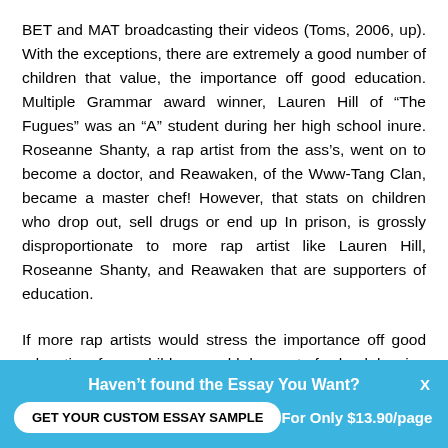BET and MAT broadcasting their videos (Toms, 2006, up). With the exceptions, there are extremely a good number of children that value, the importance off good education. Multiple Grammar award winner, Lauren Hill of “The Fugues” was an “A” student during her high school inure. Roseanne Shanty, a rap artist from the ass’s, went on to become a doctor, and Reawaken, of the Www-Tang Clan, became a master chef! However, that stats on children who drop out, sell drugs or end up In prison, is grossly disproportionate to more rap artist like Lauren Hill, Roseanne Shanty, and Reawaken that are supporters of education.
If more rap artists would stress the importance off good education, fewer children would drop out of school, leaving them with the pressures of society. According to Toms, “the record company executives arena interested in educating children. They are interested in sales and profit.” (2006). Most
Haven't found the Essay You Want?
GET YOUR CUSTOM ESSAY SAMPLE
For Only $13.90/page